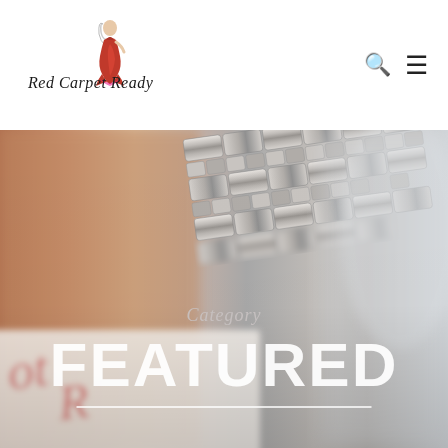[Figure (logo): Red Carpet Ready logo with cursive script text and illustrated woman in red dress]
[Figure (photo): Hero image showing close-up of silver/metallic watch bracelet with blurred foreground elements including what appears to be branded paper with cursive writing]
Category
FEATURED